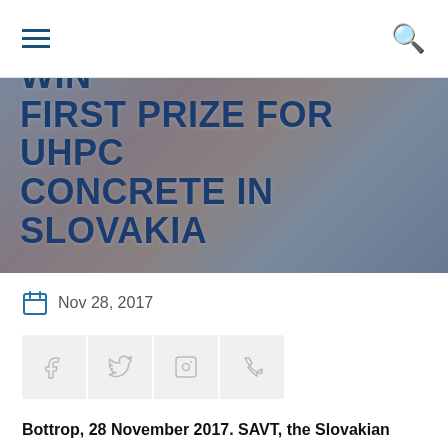Navigation bar with hamburger menu and search icon
STRABAG AND MC WIN FIRST PRIZE FOR UHPC CONCRETE IN SLOVAKIA
Nov 28, 2017
[Figure (other): Social share buttons: Facebook, Twitter, LinkedIn, Xing]
Bottrop, 28 November 2017. SAVT, the Slovakian branch of ERMCO (European Ready Mixed Concrete Organization), this year ran a competition for ultra-high-performance concrete (UHPC) to be developed with classic raw materials